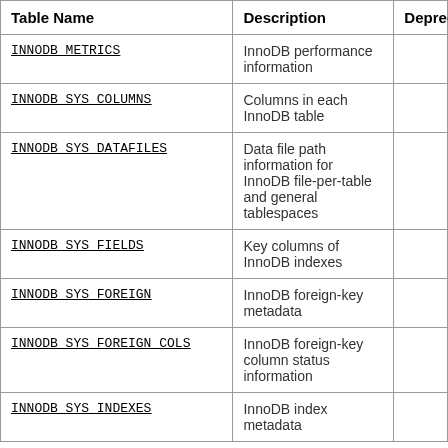| Table Name | Description | Deprecated |
| --- | --- | --- |
| INNODB_METRICS | InnoDB performance information |  |
| INNODB_SYS_COLUMNS | Columns in each InnoDB table |  |
| INNODB_SYS_DATAFILES | Data file path information for InnoDB file-per-table and general tablespaces |  |
| INNODB_SYS_FIELDS | Key columns of InnoDB indexes |  |
| INNODB_SYS_FOREIGN | InnoDB foreign-key metadata |  |
| INNODB_SYS_FOREIGN_COLS | InnoDB foreign-key column status information |  |
| INNODB_SYS_INDEXES | InnoDB index metadata |  |